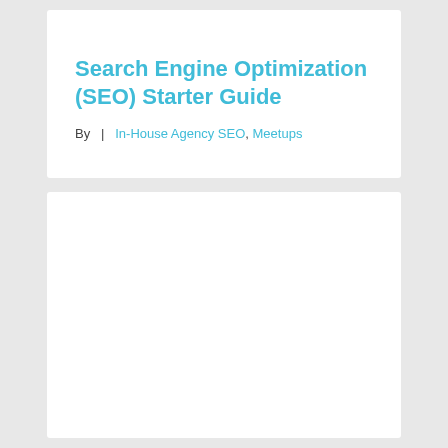Search Engine Optimization (SEO) Starter Guide
By  |  In-House Agency SEO, Meetups